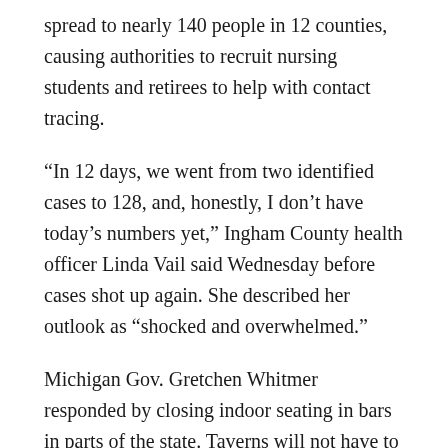spread to nearly 140 people in 12 counties, causing authorities to recruit nursing students and retirees to help with contact tracing.
“In 12 days, we went from two identified cases to 128, and, honestly, I don’t have today’s numbers yet,” Ingham County health officer Linda Vail said Wednesday before cases shot up again. She described her outlook as “shocked and overwhelmed.”
Michigan Gov. Gretchen Whitmer responded by closing indoor seating in bars in parts of the state. Taverns will not have to close completely. They can sell to-go cocktails and keep outdoor patios open.
In California, Gov. Gavin Newsom took similar action, ordering bars and indoor restaurant dining to close again for the next three weeks in most of the state. New York